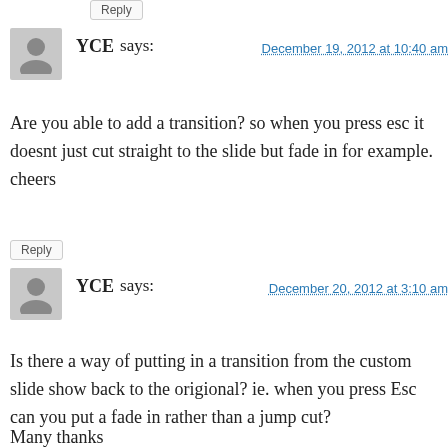Reply
YCE says:
December 19, 2012 at 10:40 am
Are you able to add a transition? so when you press esc it doesnt just cut straight to the slide but fade in for example. cheers
Reply
YCE says:
December 20, 2012 at 3:10 am
Is there a way of putting in a transition from the custom slide show back to the origional? ie. when you press Esc can you put a fade in rather than a jump cut?
Many thanks